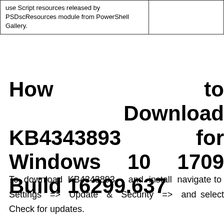| use Script resources released by PSDscResources module from PowerShell Gallery. |  |
How to Download KB4343893 for Windows 10 1709 Build 16299.637
To download KB4343893 and install navigate to Settings => Update & Security => and select Check for updates.